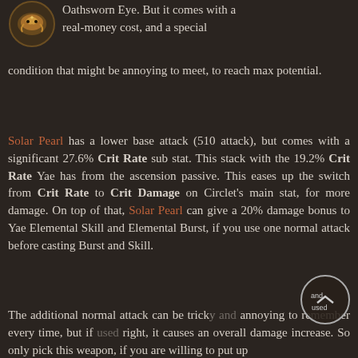[Figure (illustration): Small circular icon depicting a golden dragon or serpent emblem, top-left corner]
Oathsworn Eye. But it comes with a real-money cost, and a special condition that might be annoying to meet, to reach max potential.
Solar Pearl has a lower base attack (510 attack), but comes with a significant 27.6% Crit Rate sub stat. This stack with the 19.2% Crit Rate Yae has from the ascension passive. This eases up the switch from Crit Rate to Crit Damage on Circlet's main stat, for more damage. On top of that, Solar Pearl can give a 20% damage bonus to Yae Elemental Skill and Elemental Burst, if you use one normal attack before casting Burst and Skill.
The additional normal attack can be tricky and annoying to remember every time, but if used right, it causes an overall damage increase. So only pick this weapon, if you are willing to put up